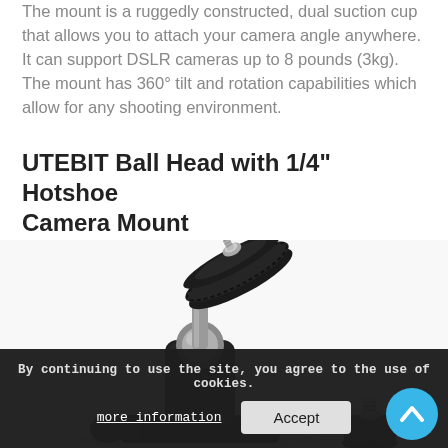The mount is a ruggedly constructed, dual suction cup that allows you to attach your camera angle anywhere. It can support DSLR cameras up to 8 pounds (3kg). The mount has 360° tilt and rotation capabilities which allow for any shooting environment.
UTEBIT Ball Head with 1/4" Hotshoe Camera Mount
[Figure (photo): Product photo of UTEBIT Ball Head with 1/4 inch Hotshoe Camera Mount. Black aluminum ball head mount with knurled adjustment knob, silver metal ball joint, and a silver 1/4 inch camera screw on top. A second smaller hotshoe adapter is visible in the lower right.]
By continuing to use the site, you agree to the use of cookies. more information  Accept